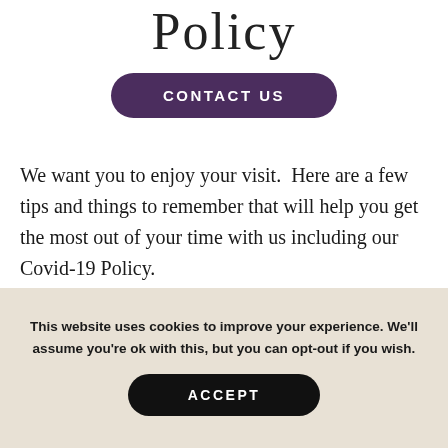Policy
CONTACT US
We want you to enjoy your visit.  Here are a few tips and things to remember that will help you get the most out of your time with us including our Covid-19 Policy.
This website uses cookies to improve your experience. We'll assume you're ok with this, but you can opt-out if you wish.
ACCEPT